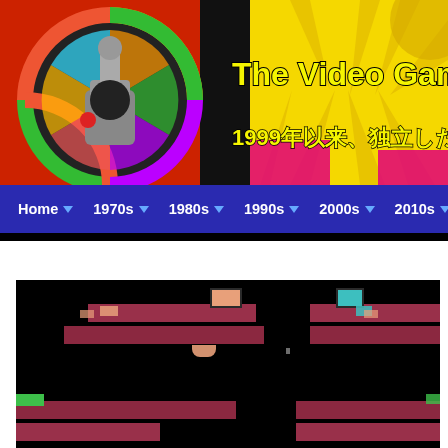[Figure (screenshot): The Video Game Critic website header banner with joystick logo, yellow title text 'The Video Game Critic', and Japanese subtitle '1999年以来、独立したレビュー' on a spiky yellow/colorful background]
Home | 1970s | 1980s | 1990s | 2000s | 2010s | Portables
[Figure (screenshot): Retro video game screenshot showing a platformer game with pink/mauve platforms, player sprites in peach and teal colors on a black background]